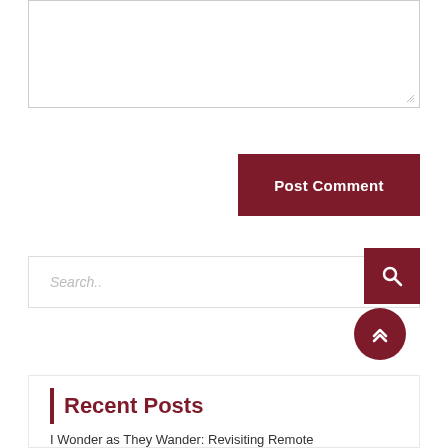[Figure (screenshot): Textarea input box with resize handle at bottom-right corner]
[Figure (screenshot): Dark red 'Post Comment' button]
[Figure (screenshot): Search bar with placeholder text 'Search..' and a dark red search icon button on the right, with a dark red circular scroll-to-top button below]
Recent Posts
I Wonder as They Wander: Revisiting Remote